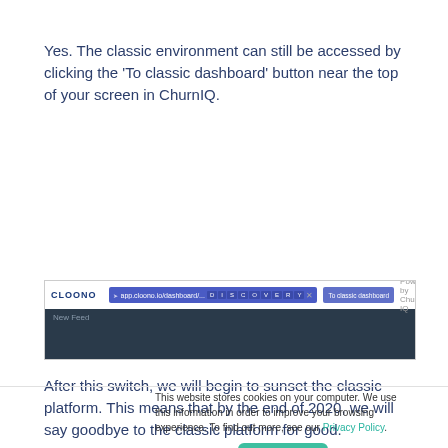Yes. The classic environment can still be accessed by clicking the 'To classic dashboard' button near the top of your screen in ChurnIQ.
[Figure (screenshot): Screenshot of the ChurnIQ/CLOONO dashboard interface showing a navigation bar with address bar and a 'To classic dashboard' button]
After this switch, we will begin to sunset the classic platform. This means that by the end of 2020, we will say goodbye to the classic platform for good.
This website stores cookies on your computer. We use this information in order to improve your browsing experience. To find out more, see our Privacy Policy.
Accept